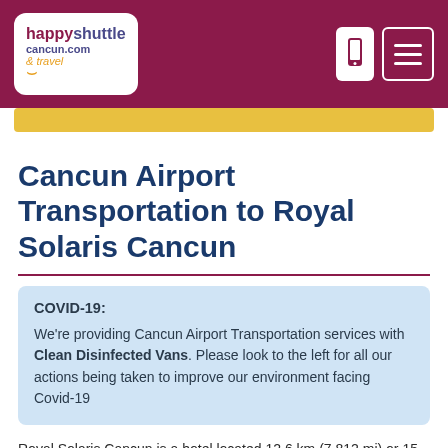happyshuttlecancun.com & travel
Cancun Airport Transportation to Royal Solaris Cancun
COVID-19: We're providing Cancun Airport Transportation services with Clean Disinfected Vans. Please look to the left for all our actions being taken to improve our environment facing Covid-19
Royal Solaris Cancun is a hotel located 12.6 km (7.812 mi) or 15 min away from Cancun International Airport. If you are wondering how to get from Cancun Airport to Royal Solaris Cancun we recommend our shared and private transportation